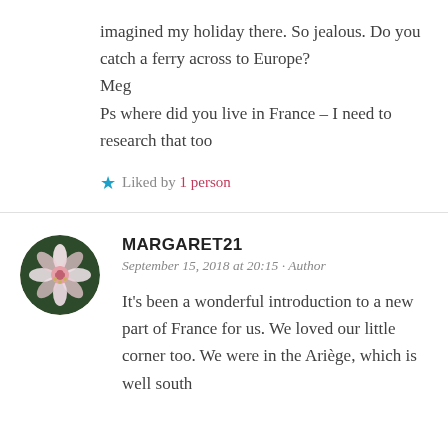imagined my holiday there. So jealous. Do you catch a ferry across to Europe?
Meg
Ps where did you live in France – I need to research that too
★ Liked by 1 person
MARGARET21
September 15, 2018 at 20:15 · Author
It's been a wonderful introduction to a new part of France for us. We loved our little corner too. We were in the Ariège, which is well south